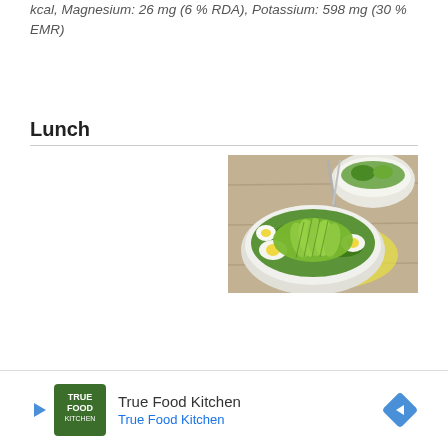kcal, Magnesium: 26 mg (6 % RDA), Potassium: 598 mg (30 % EMR)
Lunch
[Figure (photo): A bowl of avocado salad with sliced avocado, eggs, and greens on a wooden table, with another bowl visible in the background]
True Food Kitchen  True Food Kitchen